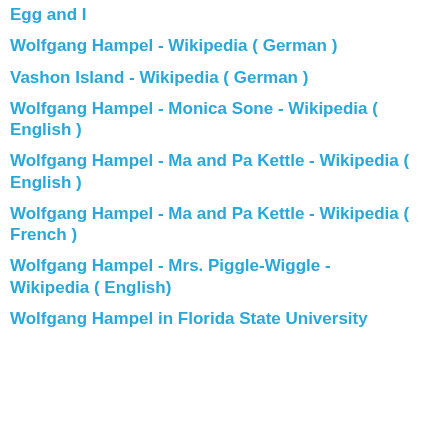Egg and I
Wolfgang Hampel - Wikipedia ( German )
Vashon Island - Wikipedia ( German )
Wolfgang Hampel - Monica Sone - Wikipedia ( English )
Wolfgang Hampel - Ma and Pa Kettle - Wikipedia ( English )
Wolfgang Hampel - Ma and Pa Kettle - Wikipedia ( French )
Wolfgang Hampel - Mrs. Piggle-Wiggle - Wikipedia ( English)
Wolfgang Hampel in Florida State University